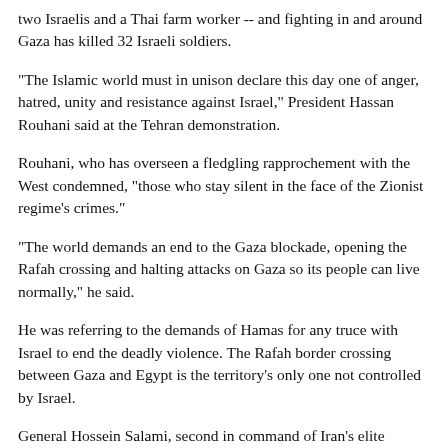two Israelis and a Thai farm worker -- and fighting in and around Gaza has killed 32 Israeli soldiers.
"The Islamic world must in unison declare this day one of anger, hatred, unity and resistance against Israel," President Hassan Rouhani said at the Tehran demonstration.
Rouhani, who has overseen a fledgling rapprochement with the West condemned, "those who stay silent in the face of the Zionist regime's crimes."
"The world demands an end to the Gaza blockade, opening the Rafah crossing and halting attacks on Gaza so its people can live normally," he said.
He was referring to the demands of Hamas for any truce with Israel to end the deadly violence. The Rafah border crossing between Gaza and Egypt is the territory's only one not controlled by Israel.
General Hossein Salami, second in command of Iran's elite Revolutionary Guards, struck a defiant tone in a speech broadcast on